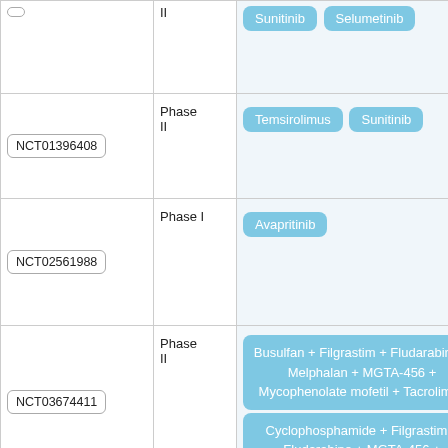| NCT ID | Phase | Drugs |
| --- | --- | --- |
| (partial row) | Phase II | Sunitinib, Selumetinib |
| NCT01396408 | Phase II | Temsirolimus, Sunitinib |
| NCT02561988 | Phase I | Avapritinib |
| NCT03674411 | Phase II | Busulfan + Filgrastim + Fludarabine + Melphalan + MGTA-456 + Mycophenolate mofetil + Tacrolimus; Cyclophosphamide + Filgrastim + Fludarabine + MGTA-456 + ... |